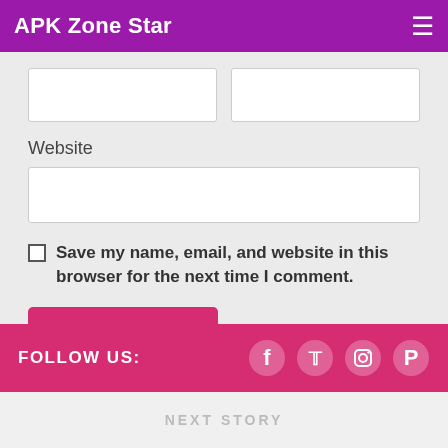APK Zone Star
Website
Save my name, email, and website in this browser for the next time I comment.
Post Comment
FOLLOW US:
NEXT STORY